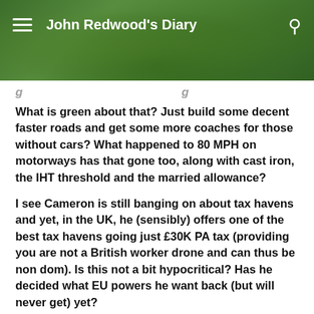John Redwood's Diary
What is green about that? Just build some decent faster roads and get some more coaches for those without cars? What happened to 80 MPH on motorways has that gone too, along with cast iron, the IHT threshold and the married allowance?
I see Cameron is still banging on about tax havens and yet, in the UK, he (sensibly) offers one of the best tax havens going just £30K PA tax (providing you are not a British worker drone and can thus be non dom). Is this not a bit hypocritical? Has he decided what EU powers he want back (but will never get) yet?
What are the odds of the absurdly uneconomic HS2 actually happening JR? They are already destroying businesses and blighting properties all over the place I see…